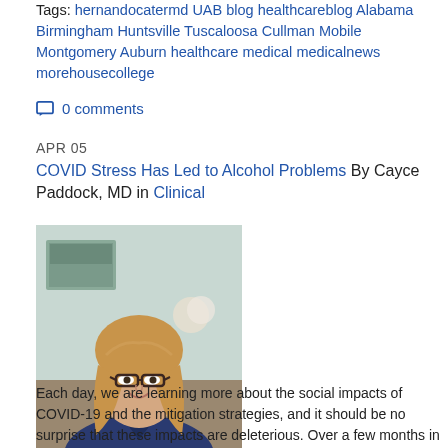Tags: hernandocatermd UAB blog healthcareblog Alabama Birmingham Huntsville Tuscaloosa Cullman Mobile Montgomery Auburn healthcare medical medicalnews morehousecollege
0 comments
APR 05
COVID Stress Has Led to Alcohol Problems By Cayce Paddock, MD in Clinical
[Figure (photo): Portrait photo of a woman with glasses and long brown hair, wearing a navy blue top, smiling indoors.]
Each day, we are learning more about the social impacts of COVID-19 and the mitigation strategies, and it should be no surprise that these impacts are deleterious. Over a few months in